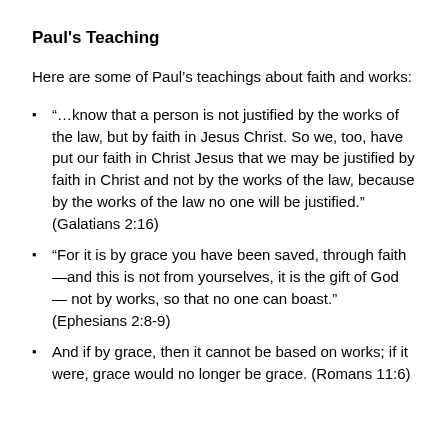Paul's Teaching
Here are some of Paul's teachings about faith and works:
“…know that a person is not justified by the works of the law, but by faith in Jesus Christ. So we, too, have put our faith in Christ Jesus that we may be justified by faith in Christ and not by the works of the law, because by the works of the law no one will be justified.” (Galatians 2:16)
“For it is by grace you have been saved, through faith —and this is not from yourselves, it is the gift of God — not by works, so that no one can boast.” (Ephesians 2:8-9)
And if by grace, then it cannot be based on works; if it were, grace would no longer be grace. (Romans 11:6)